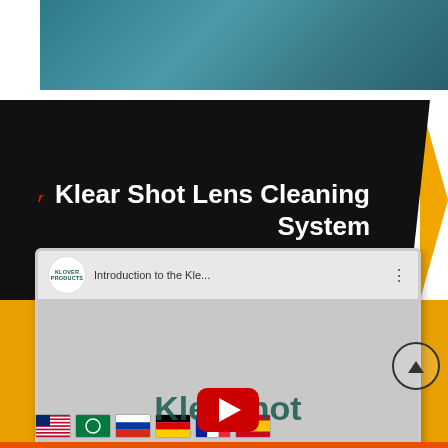[Figure (photo): Teal/blue textured background strip at top of page]
Klear Shot Lens Cleaning System
[Figure (screenshot): YouTube video thumbnail showing 'Introduction to the Kle...' from Klover Products channel, with KlearShot branding and red YouTube play button]
[Figure (infographic): Row of country flag icons: USA, Arabic/Middle East, Russia, Germany, France, Spain]